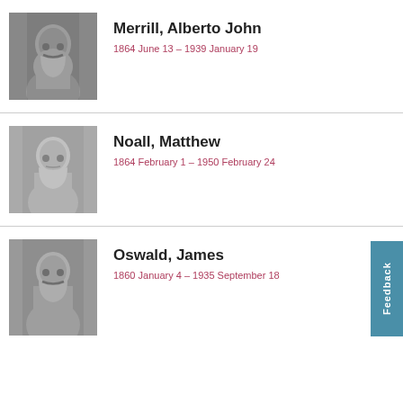[Figure (photo): Black and white portrait photo of Alberto John Merrill, a man with a mustache]
Merrill, Alberto John
1864 June 13 – 1939 January 19
[Figure (photo): Black and white portrait photo of Matthew Noall, a man with a clean-shaven face]
Noall, Matthew
1864 February 1 – 1950 February 24
[Figure (photo): Black and white portrait photo of James Oswald, a man with a mustache]
Oswald, James
1860 January 4 – 1935 September 18